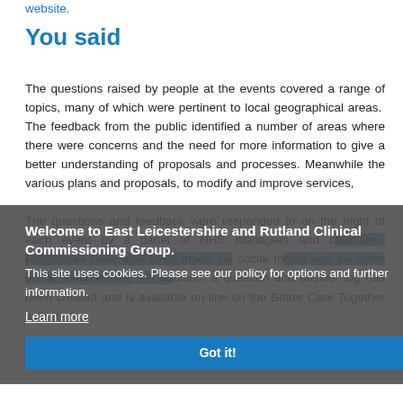website.
You said
The questions raised by people at the events covered a range of topics, many of which were pertinent to local geographical areas. The feedback from the public identified a number of areas where there were concerns and the need for more information to give a better understanding of proposals and processes. Meanwhile the various plans and proposals, to modify and improve services, This site uses cookies. Please see our policy for options and further information. Learn more Got it! The questions and feedback were responded to on the night of each event by a panel of NHS managers and clinicians. Responses have also been made via social media and via other online mechanisms. In addition, a question and answer log has been created and is available on line on the Better Care Together website.